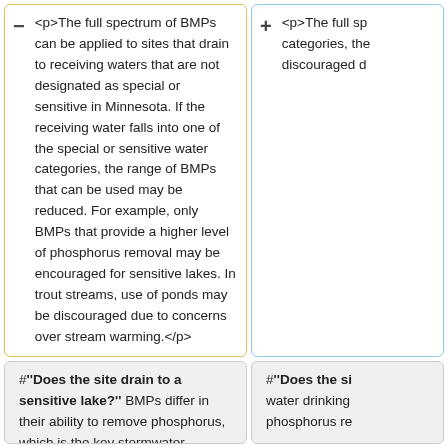<p>The full spectrum of BMPs can be applied to sites that drain to receiving waters that are not designated as special or sensitive in Minnesota. If the receiving water falls into one of the special or sensitive water categories, the range of BMPs that can be used may be reduced. For example, only BMPs that provide a higher level of phosphorus removal may be encouraged for sensitive lakes. In trout streams, use of ponds may be discouraged due to concerns over stream warming.</p>
<p>The full sp... categories, the... discouraged d...</p>
#'''Does the site drain to a sensitive lake?''' BMPs differ in their ability to remove phosphorus, which is the key stormwater pollutant managed to protect sensitive lakes (Note: this category also includes trout lakes and surface water drinking supplies). Communities may require greater water quality treatment, a specific phosphorus removal rate or even load reduction at the development site to protect their most sensitive lakes. In general, higher phosphorus removal requirements result in shorter list of acceptable BMP designs that can be used at the site.
#'''Does the si... water drinking... phosphorus re...